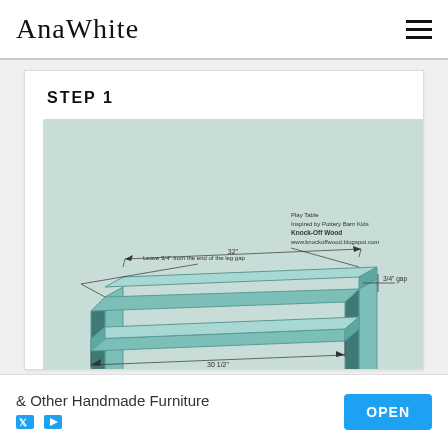AnaWhite [logo] with hamburger menu
STEP 1
[Figure (engineering-diagram): 3D perspective engineering diagram of a table frame assembly showing two legs connected by a horizontal apron rail. Annotations indicate: 'Leave 3/4" from the end of the leg gap', '3/4" gap', a dimension of '32"' along the top, and '30 1/2"' along the bottom rail. Text block in upper right reads: 'Play Table / Inspired by Pottery Barn Kids / Knock-Off Wood / www.knockoffwood.blogspot.com']
& Other Handmade Furniture
OPEN